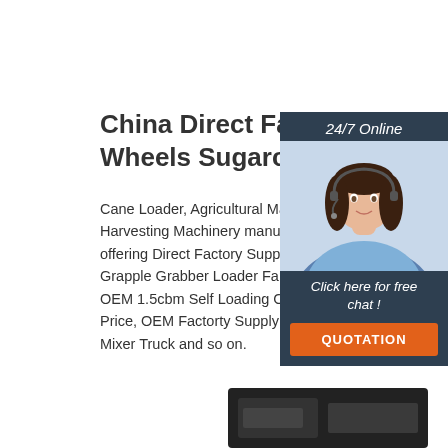China Direct Factory Supply 4 Wheels Sugarcane Grapple ..
Cane Loader, Agricultural Machinery, Agricultural Harvesting Machinery manufacturer supplier in offering Direct Factory Supply 4 Wheels Sugarcane Grapple Grabber Loader Farming Machine Ma... OEM 1.5cbm Self Loading Concrete Mixer Truck Price, OEM Factorty Supply1.5cbm Self Loading Mixer Truck and so on.
[Figure (photo): Customer service woman with headset, 24/7 Online chat widget with QUOTATION button]
[Figure (photo): Dark product image partially visible at bottom right]
Get Price